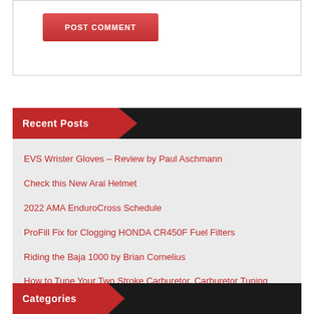[Figure (screenshot): POST COMMENT button with red gradient background and white bold text]
Recent Posts
EVS Wrister Gloves – Review by Paul Aschmann
Check this New Arai Helmet
2022 AMA EnduroCross Schedule
ProFill Fix for Clogging HONDA CR450F Fuel Filters
Riding the Baja 1000 by Brian Cornelius
How to Tune Your Two Stroke Carburetor, Carburetor Tuning
Categories